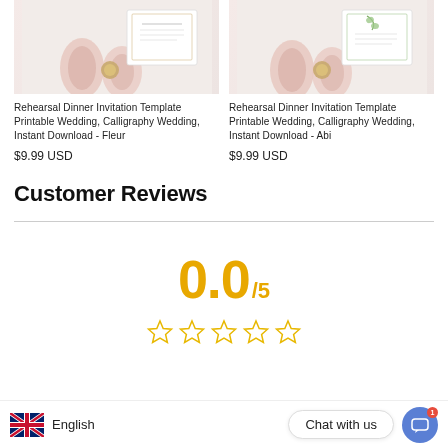[Figure (photo): Product photo of Rehearsal Dinner Invitation Template Printable Wedding, Calligraphy Wedding, Instant Download - Fleur, showing pink ribbon rolls and invitation card]
Rehearsal Dinner Invitation Template Printable Wedding, Calligraphy Wedding, Instant Download - Fleur
$9.99 USD
[Figure (photo): Product photo of Rehearsal Dinner Invitation Template Printable Wedding, Calligraphy Wedding, Instant Download - Abi, showing pink ribbon rolls and invitation card with eucalyptus]
Rehearsal Dinner Invitation Template Printable Wedding, Calligraphy Wedding, Instant Download - Abi
$9.99 USD
Customer Reviews
[Figure (infographic): Rating display showing 0.0/5 in large gold text with 5 empty gold star outlines below]
English
Chat with us